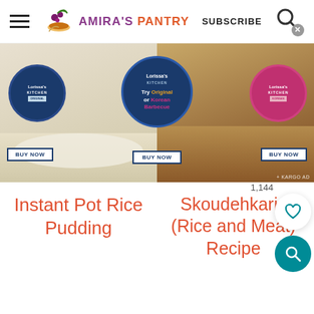AMIRA'S PANTRY — SUBSCRIBE
[Figure (advertisement): Lorissa's Kitchen ad banner showing two food photos (rice pudding and rice with meat) with three circular Lorissa's Kitchen product images and three BUY NOW buttons. Text says 'Try Original or Korean Barbecue'. KARGO AD watermark in corner.]
Instant Pot Rice Pudding
Skoudehkaris (Rice and Meat) Recipe
1,144